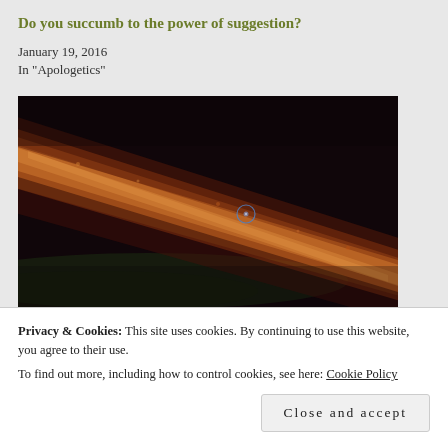Do you succumb to the power of suggestion?
January 19, 2016
In "Apologetics"
[Figure (photo): The Pale Blue Dot — a photo of Earth taken by Voyager 1 from 6 billion kilometers away, showing a narrow diagonal band of scattered sunlight (orange/red) across a dark space background, with a small circled dot indicating Earth.]
Privacy & Cookies: This site uses cookies. By continuing to use this website, you agree to their use.
To find out more, including how to control cookies, see here: Cookie Policy
Close and accept